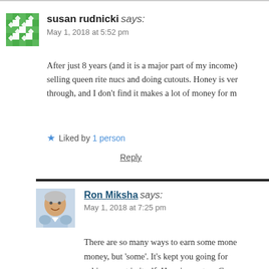susan rudnicki says:
May 1, 2018 at 5:52 pm
After just 8 years (and it is a major part of my income) selling queen rite nucs and doing cutouts. Honey is ver through, and I don't find it makes a lot of money for m
Liked by 1 person
Reply
Ron Miksha says:
May 1, 2018 at 7:25 pm
There are so many ways to earn some mone money, but 'some'. It's kept you going for achievement in itself. Here in western Cana money, but our course also includes makin